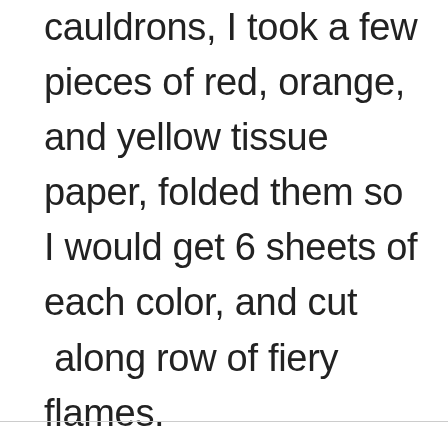cauldrons, I took a few pieces of red, orange, and yellow tissue paper, folded them so I would get 6 sheets of each color, and cut along row of fiery flames.